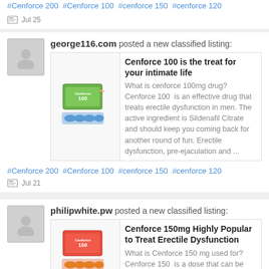#Cenforce 200  #Cenforce 100  #cenforce 150  #cenforce 120
Jul 25
george116.com posted a new classified listing:
Cenforce 100 is the treat for your intimate life
What is cenforce 100mg drug? Cenforce 100  is an effective drug that treats erectile dysfunction in men. The active ingredient is Sildenafil Citrate and should keep you coming back for another round of fun. Erectile dysfunction, pre-ejaculation and ...
#Cenforce 200  #Cenforce 100  #cenforce 150  #cenforce 120
Jul 21
philipwhite.pw posted a new classified listing:
Cenforce 150mg Highly Popular to Treat Erectile Dysfunction
What is Cenforce 150 mg used for? Cenforce 150  is a dose that can be prescribed as an oral tablet to be used